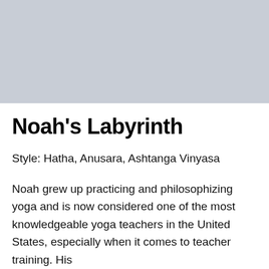[Figure (photo): Gray placeholder image area representing a photo of Noah's Labyrinth yoga studio or instructor]
Noah's Labyrinth
Style: Hatha, Anusara, Ashtanga Vinyasa
Noah grew up practicing and philosophizing yoga and is now considered one of the most knowledgeable yoga teachers in the United States, especially when it comes to teacher training. His